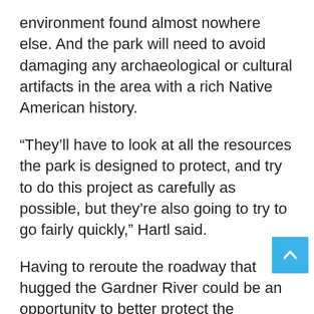environment found almost nowhere else. And the park will need to avoid damaging any archaeological or cultural artifacts in the area with a rich Native American history.
“They’ll have to look at all the resources the park is designed to protect, and try to do this project as carefully as possible, but they’re also going to try to go fairly quickly,” Hartl said.
Having to reroute the roadway that hugged the Gardner River could be an opportunity to better protect the waterway and the fish and other species that thrive there from oil and other microscopic pollution that comes from passing vehicles, Hartl said.
“The river will be healthier for it,” he said.
The Yosemite flood was seen by the park as an